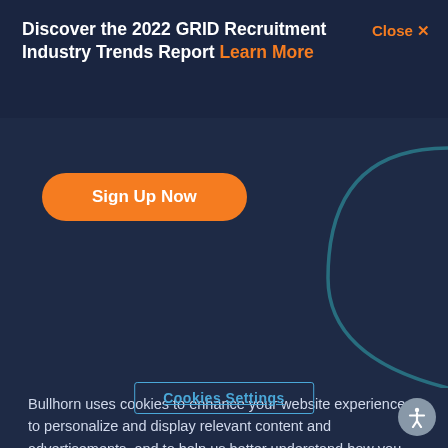Discover the 2022 GRID Recruitment Industry Trends Report Learn More
Close X
[Figure (illustration): Orange Sign Up Now button with decorative teal arc graphic on dark navy background]
Bullhorn uses cookies to enhance your website experience, to personalize and display relevant content and advertisements, and to help us better understand how you use our websites in an effort to make them more user-friendly. By continuing to browse or by closing out of this message, you indicate your agreement. To set your own preferences, click "Cookie Settings" and you can learn more about the cookies we use by reviewing our cookie policy.
Cookies Settings